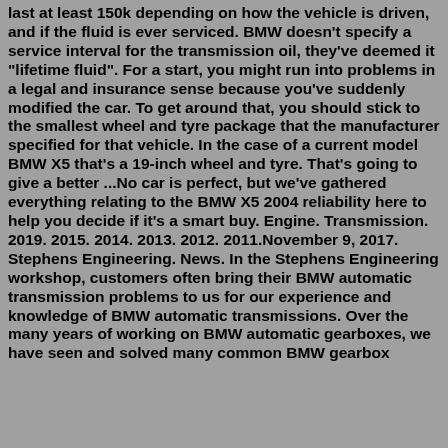last at least 150k depending on how the vehicle is driven, and if the fluid is ever serviced. BMW doesn't specify a service interval for the transmission oil, they've deemed it "lifetime fluid". For a start, you might run into problems in a legal and insurance sense because you've suddenly modified the car. To get around that, you should stick to the smallest wheel and tyre package that the manufacturer specified for that vehicle. In the case of a current model BMW X5 that's a 19-inch wheel and tyre. That's going to give a better ...No car is perfect, but we've gathered everything relating to the BMW X5 2004 reliability here to help you decide if it's a smart buy. Engine. Transmission. 2019. 2015. 2014. 2013. 2012. 2011.November 9, 2017. Stephens Engineering. News. In the Stephens Engineering workshop, customers often bring their BMW automatic transmission problems to us for our experience and knowledge of BMW automatic transmissions. Over the many years of working on BMW automatic gearboxes, we have seen and solved many common BMW gearbox